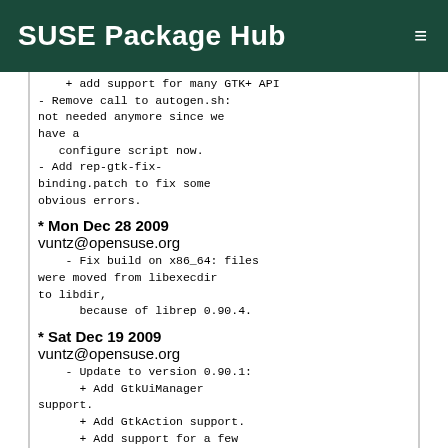SUSE Package Hub
+ add support for many GTK+ API
- Remove call to autogen.sh: not needed anymore since we have a
   configure script now.
- Add rep-gtk-fix-binding.patch to fix some obvious errors.
* Mon Dec 28 2009 vuntz@opensuse.org
    - Fix build on x86_64: files were moved from libexecdir to libdir,
      because of librep 0.90.4.
* Sat Dec 19 2009 vuntz@opensuse.org
    - Update to version 0.90.1:
      + Add GtkUiManager support.
      + Add GtkAction support.
      + Add support for a few others API.
      + Build system fixes.
* Wed Sep 09 2009 vuntz@opensuse.org
    - Update to version 0.90.0:
      + GError support